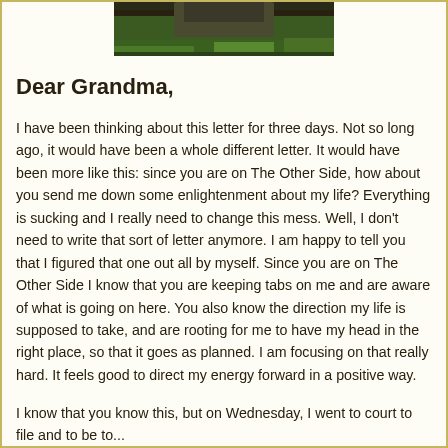[Figure (photo): Partial photo of a person standing outdoors near green shrubs/hedges, cropped at top]
Dear Grandma,
I have been thinking about this letter for three days. Not so long ago, it would have been a whole different letter. It would have been more like this: since you are on The Other Side, how about you send me down some enlightenment about my life? Everything is sucking and I really need to change this mess. Well, I don't need to write that sort of letter anymore. I am happy to tell you that I figured that one out all by myself. Since you are on The Other Side I know that you are keeping tabs on me and are aware of what is going on here. You also know the direction my life is supposed to take, and are rooting for me to have my head in the right place, so that it goes as planned. I am focusing on that really hard. It feels good to direct my energy forward in a positive way.
I know that you know this, but on Wednesday, I went to court to file and to be to...